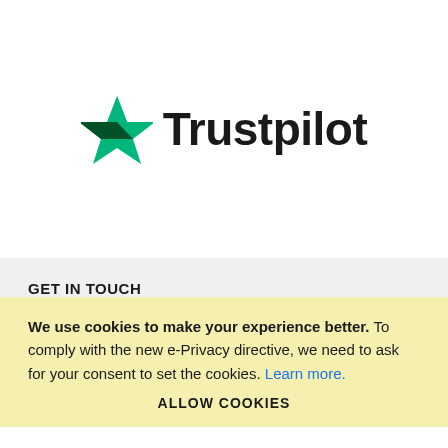[Figure (logo): Trustpilot logo with green star and wordmark]
GET IN TOUCH
We use cookies to make your experience better. To comply with the new e-Privacy directive, we need to ask for your consent to set the cookies. Learn more.
ALLOW COOKIES